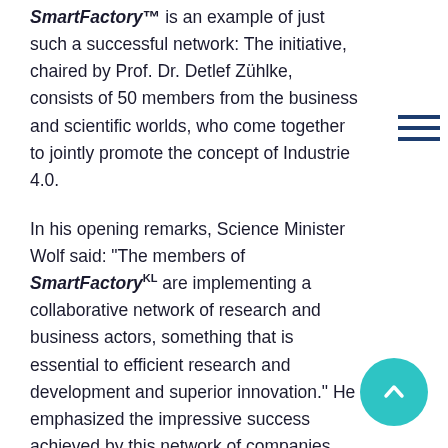SmartFactory™ is an example of just such a successful network: The initiative, chaired by Prof. Dr. Detlef Zühlke, consists of 50 members from the business and scientific worlds, who come together to jointly promote the concept of Industrie 4.0.
In his opening remarks, Science Minister Wolf said: "The members of SmartFactory KL are implementing a collaborative network of research and business actors, something that is essential to efficient research and development and superior innovation." He emphasized the impressive success achieved by this network of companies, institutes, and universities.
"The members of SmartFactory KL have realized that the major challenges of the future for German industry and Germany as an economic center will involve the digitalization of production. Today, the initiative is